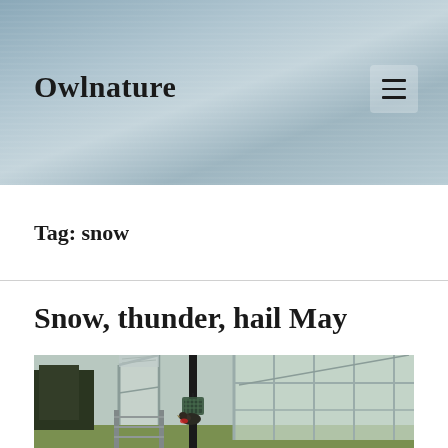Owlnature
Tag: snow
Snow, thunder, hail May
[Figure (photo): Photograph of a greenhouse structure with metal frame and transparent panels, with a bird feeder hanging from a black pole in the foreground and trees visible in the background]